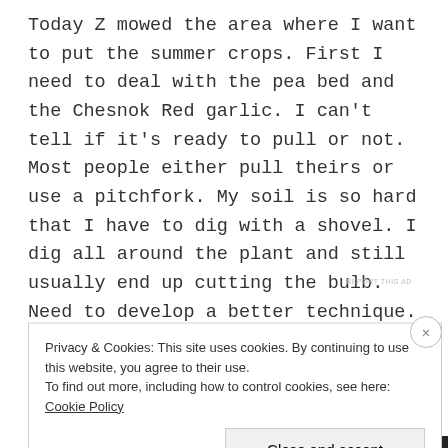Today Z mowed the area where I want to put the summer crops. First I need to deal with the pea bed and the Chesnok Red garlic. I can't tell if it's ready to pull or not. Most people either pull theirs or use a pitchfork. My soil is so hard that I have to dig with a shovel. I dig all around the plant and still usually end up cutting the bulb. Need to develop a better technique. Need to improve the soil!
REPORT THIS AD
Privacy & Cookies: This site uses cookies. By continuing to use this website, you agree to their use.
To find out more, including how to control cookies, see here: Cookie Policy
Close and accept